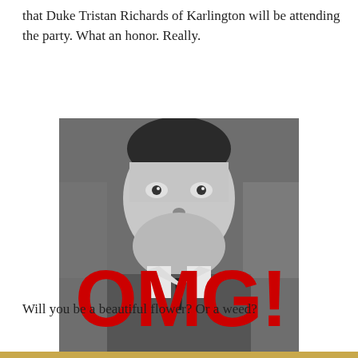that Duke Tristan Richards of Karlington will be attending the party. What an honor. Really.
[Figure (photo): Black and white photo of a man with an expression of shock/surprise with mouth wide open, overlaid with large bold red text reading 'OMG!']
Will you be a beautiful flower? Or a weed?